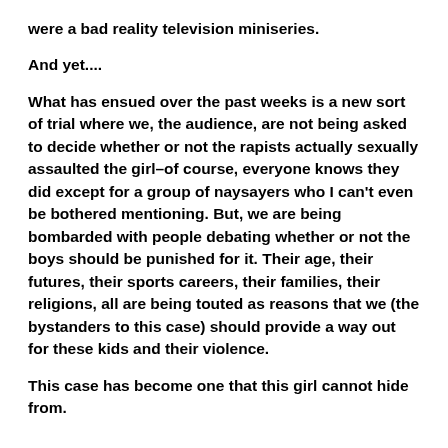were a bad reality television miniseries.
And yet....
What has ensued over the past weeks is a new sort of trial where we, the audience, are not being asked to decide whether or not the rapists actually sexually assaulted the girl–of course, everyone knows they did except for a group of naysayers who I can't even be bothered mentioning. But, we are being bombarded with people debating whether or not the boys should be punished for it. Their age, their futures, their sports careers, their families, their religions, all are being touted as reasons that we (the bystanders to this case) should provide a way out for these kids and their violence.
This case has become one that this girl cannot hide from.